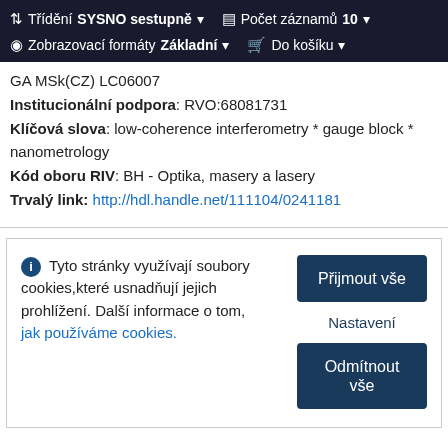Třídění SYSNO sestupně   Počet záznamů 10   Zobrazovací formáty Základní   Do košíku
GA MSk(CZ) LC06007
Institucionální podpora: RVO:68081731
Klíčová slova: low-coherence interferometry * gauge block * nanometrology
Kód oboru RIV: BH - Optika, masery a lasery
Trvalý link: http://hdl.handle.net/111104/0241181
Tyto stránky využívají soubory cookies,které usnadňují jejich prohlížení. Další informace o tom, jak používáme cookies.